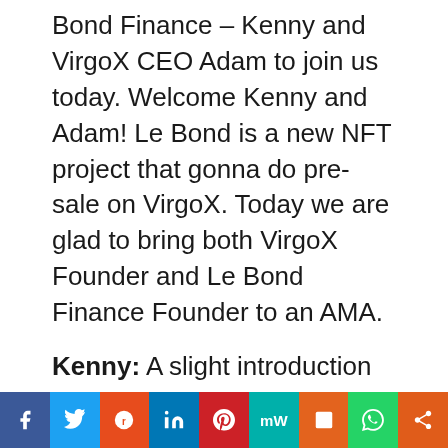Bond Finance – Kenny and VirgoX CEO Adam to join us today. Welcome Kenny and Adam! Le Bond is a new NFT project that gonna do pre-sale on VirgoX. Today we are glad to bring both VirgoX Founder and Le Bond Finance Founder to an AMA.
Kenny: A slight introduction of myself, I'm Kenny from Singapore. As an aspiring entrepreneur, I had travel china, Malaysia, Hongkong and Macau dealing with IT and property business. I believe in putting ideas into reality. The keywords to my current career is action and innovation. Currently we are the first property developer to re-innovate commercial building into high end cutting edge smart building. We are using clean energy
f  t  reddit  in  P  mW  m  WhatsApp  share